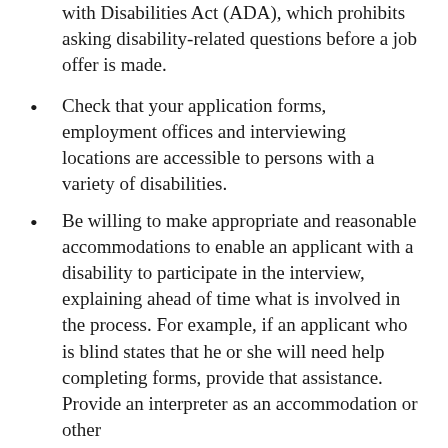with Disabilities Act (ADA), which prohibits asking disability-related questions before a job offer is made.
Check that your application forms, employment offices and interviewing locations are accessible to persons with a variety of disabilities.
Be willing to make appropriate and reasonable accommodations to enable an applicant with a disability to participate in the interview, explaining ahead of time what is involved in the process. For example, if an applicant who is blind states that he or she will need help completing forms, provide that assistance. Provide an interpreter as an accommodation or other